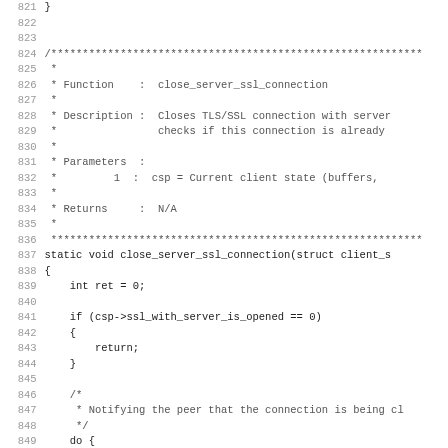Source code listing lines 821-852, showing the close_server_ssl_connection function definition with comment block and implementation.